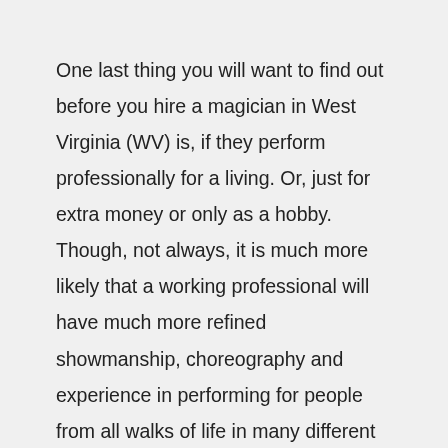One last thing you will want to find out before you hire a magician in West Virginia (WV) is, if they perform professionally for a living. Or, just for extra money or only as a hobby. Though, not always, it is much more likely that a working professional will have much more refined showmanship, choreography and experience in performing for people from all walks of life in many different performance settings than a hobbyist. You owe it to yourself, your guests and to the success of your special event to consider only